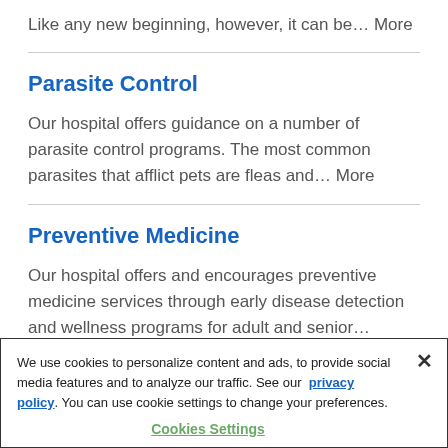Like any new beginning, however, it can be… More
Parasite Control
Our hospital offers guidance on a number of parasite control programs. The most common parasites that afflict pets are fleas and… More
Preventive Medicine
Our hospital offers and encourages preventive medicine services through early disease detection and wellness programs for adult and senior…
We use cookies to personalize content and ads, to provide social media features and to analyze our traffic. See our privacy policy. You can use cookie settings to change your preferences.
Cookies Settings